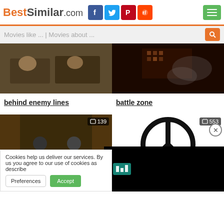BestSimilar.com
Movies like ... | Movies about ...
[Figure (photo): Two soldiers lying on the ground in forest camouflage]
behind enemy lines
[Figure (photo): Dark dramatic battle scene with smoke and fire]
battle zone
[Figure (photo): Two men in dark clothing sitting on a bed in a room, badge showing 139]
initially antagonists
[Figure (illustration): Peace symbol / CND logo in black and white, badge showing 553]
[Figure (screenshot): Black bar with Bandsintown logo icon in teal]
Cookies help us deliver our services. By us you agree to our use of cookies as describe
Preferences
Accept